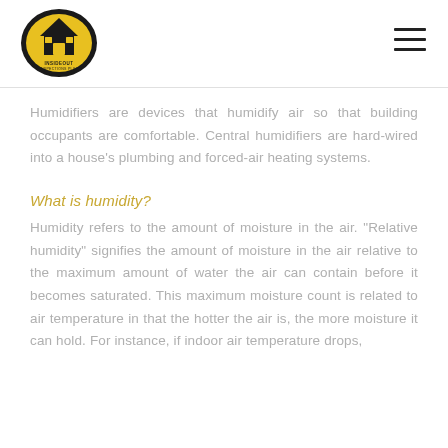InsideOut Inspections Plus logo and navigation
Humidifiers are devices that humidify air so that building occupants are comfortable. Central humidifiers are hard-wired into a house's plumbing and forced-air heating systems.
What is humidity?
Humidity refers to the amount of moisture in the air. "Relative humidity" signifies the amount of moisture in the air relative to the maximum amount of water the air can contain before it becomes saturated. This maximum moisture count is related to air temperature in that the hotter the air is, the more moisture it can hold. For instance, if indoor air temperature drops,